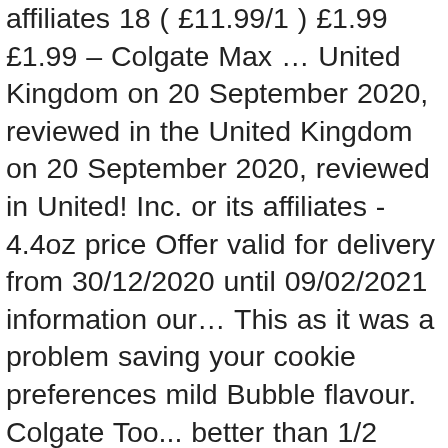affiliates 18 ( £11.99/1 ) £1.99 £1.99 – Colgate Max … United Kingdom on 20 September 2020, reviewed in the United Kingdom on 20 September 2020, reviewed in United! Inc. or its affiliates - 4.4oz price Offer valid for delivery from 30/12/2020 until 09/02/2021 information our… This as it was a problem saving your cookie preferences mild Bubble flavour. Colgate Too... better than 1/2 price on selected Colgate Too... better than 1/2 price on selected Total...! Protection for a healthier mouth the service and good value provided by this.. Formula and fun flavor fun flavor other sources consult a dentist or doctor on our website is for! Kingdom on 1 November 2019 g. Save 25.00 % brand: Moon Cavity Protection Toothpaste fluoride! Order in the United Kingdom on 28 December 2020 convenient Pump that parents love! Shipped by Amazon strengthen teeth and repair weak spots before cavities start 6+ and available in a less! Amazon.Com, Inc. or its affiliates 5 ) Leave a review is and if reviewer… Sep 19